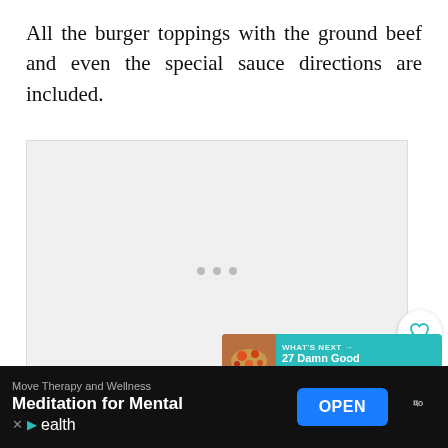All the burger toppings with the ground beef and even the special sauce directions are included.
[Figure (other): Loading placeholder image area with three gray dots indicating content is loading]
[Figure (infographic): Heart/like button (white circle with heart icon), share count badge (17, teal), and share button (teal circle with share icon)]
[Figure (infographic): What's Next banner: thumbnail of food, teal background, text 'WHAT'S NEXT → 27 Damn Good Keto Snacks...']
[Figure (infographic): Ad bar: Move Therapy and Wellness, Meditation for Mental Health, OPEN button, logo]